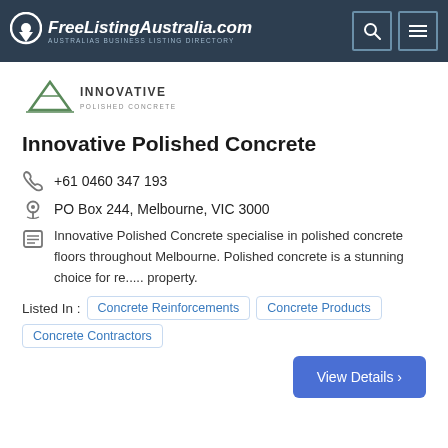FreeListingAustralia.com — AUSTRALIAS BUSINESS LISTING DIRECTORY
[Figure (logo): Innovative Polished Concrete logo — triangle/mountain icon with company name]
Innovative Polished Concrete
+61 0460 347 193
PO Box 244, Melbourne, VIC 3000
Innovative Polished Concrete specialise in polished concrete floors throughout Melbourne. Polished concrete is a stunning choice for re..... property.
Listed In : Concrete Reinforcements   Concrete Products   Concrete Contractors
View Details >